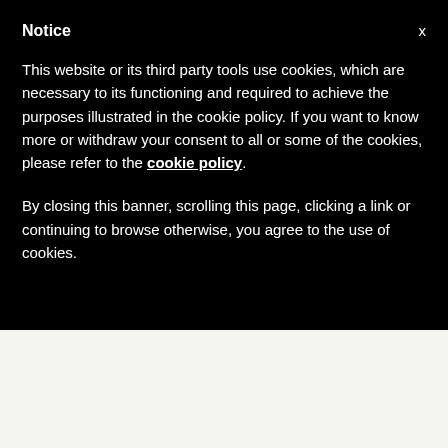Notice
This website or its third party tools use cookies, which are necessary to its functioning and required to achieve the purposes illustrated in the cookie policy. If you want to know more or withdraw your consent to all or some of the cookies, please refer to the cookie policy.
By closing this banner, scrolling this page, clicking a link or continuing to browse otherwise, you agree to the use of cookies.
y Church and media: evangelidigitalización.°
❮United States: this is the numerical status of permanent deacons in the country
12 Interesting Facts about the New Cardinals and